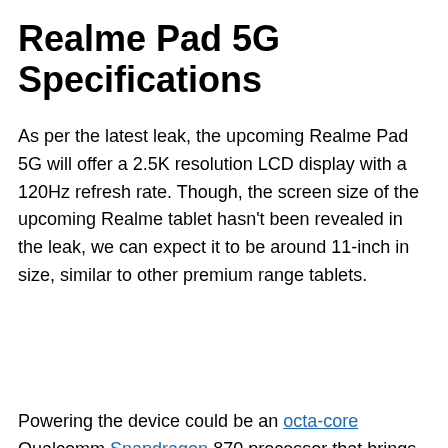Realme Pad 5G Specifications
As per the latest leak, the upcoming Realme Pad 5G will offer a 2.5K resolution LCD display with a 120Hz refresh rate. Though, the screen size of the upcoming Realme tablet hasn't been revealed in the leak, we can expect it to be around 11-inch in size, similar to other premium range tablets.
Powering the device could be an octa-core Qualcomm Snapdragon 870 processor that brings with it an integrated Adreno 650 GPU. This is the same processor that powers several other premium Android